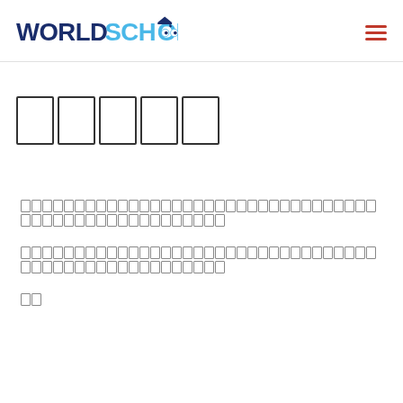World Schools
□□□□□
□□□□□□□□□□□□□□□□□□□□□□□□□□□□□□□□□□□□□□□□□□□□□□□□□□□□□□□□□□□□□□□□□□□□□□□□□□□□□□□□□□□□□□□□□□□□□□□□□□□□□□□□□□□□□□□□□□□□□□□□□□□□□□□□□□□□□□□□□□□□□□□□□□□□□□□□□□□□□□□□□□□□□□□□□□□□□□□□□□□□□□□□□□□□□□□□□□□□□□□□□□□□□□□□□□□□□□□□□□□□□□□□□□□□□□□□□□□□□□□□□□□□□□□□□□□□□□□□□□□□□□□□□□□□□□□□
□□